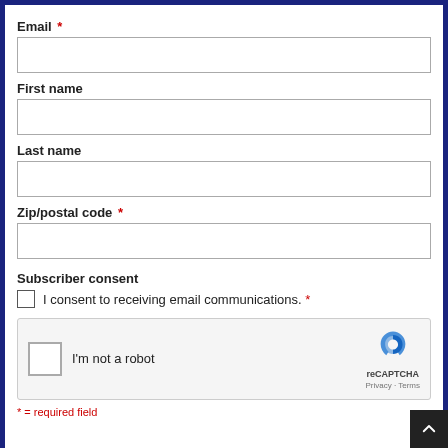Email *
First name
Last name
Zip/postal code *
Subscriber consent
I consent to receiving email communications. *
[Figure (other): reCAPTCHA widget with checkbox and 'I'm not a robot' text, reCAPTCHA logo, Privacy and Terms links]
* = required field